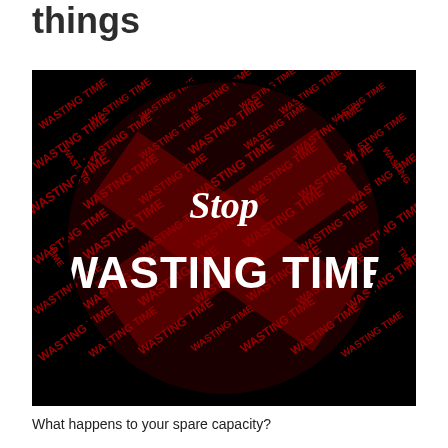things
[Figure (illustration): A circular stop-sign style graphic on a black background with the text 'Stop Wasting Time' prominently displayed. The word 'Stop' is in white italic text in the upper center, and 'WASTING TIME' is in large bold white text across the middle. The background of the circle is filled with red repeated text reading 'WASTING TIME' at various angles and sizes.]
What happens to your spare capacity?